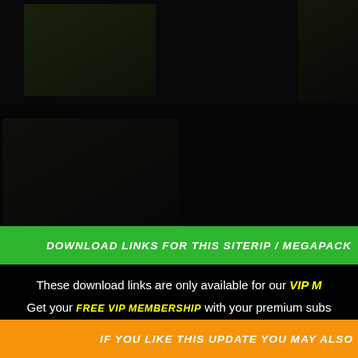[Figure (screenshot): Dark background with thumbnail images of people on top and left side, website screenshot]
DOWNLOAD LINKS FOR THIS SITERIP / MEGAPACK
These download links are only available for our VIP members.
Get your FREE VIP MEMBERSHIP with your premium subs...
IF YOU LIKE THIS UPDATE YOU MAY ALSO...